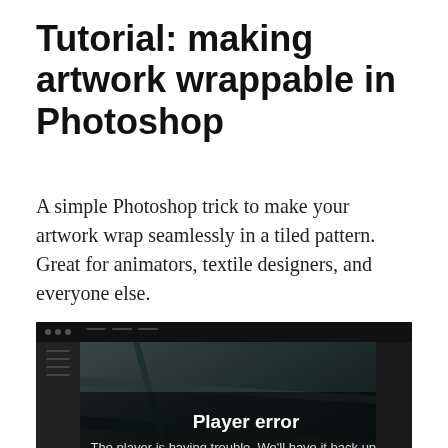Tutorial: making artwork wrappable in Photoshop
A simple Photoshop trick to make your artwork wrap seamlessly in a tiled pattern. Great for animators, textile designers, and everyone else.
[Figure (screenshot): A video player screenshot showing a dark Photoshop workspace with a 'Player error' overlay. The overlay reads 'Player error' in bold white text and 'The player is having trouble. We'll have it back up and running as soon as possible.' An X close button appears in the top right corner.]